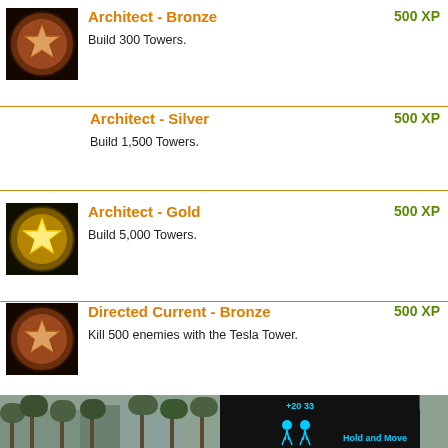[Figure (illustration): Bronze star badge/medal icon on black background]
Architect - Bronze
500 XP
Build 300 Towers.
Architect - Silver
500 XP
Build 1,500 Towers.
[Figure (illustration): Gold star badge/medal icon on black background]
Architect - Gold
500 XP
Build 5,000 Towers.
[Figure (illustration): Bronze star badge/medal icon on black background]
Directed Current - Bronze
500 XP
Kill 500 enemies with the Tesla Tower.
Directed Current - Silver
500 XP
[Figure (screenshot): Advertisement banner showing Hold and Move game with outdoor/trees background and close buttons]